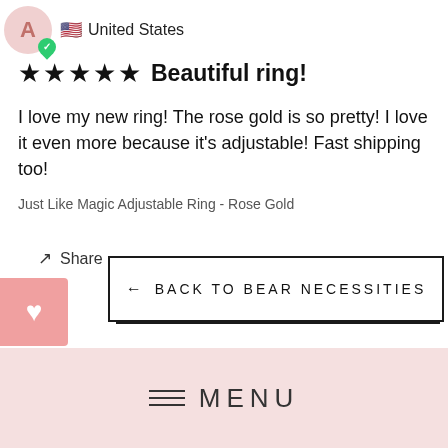[Figure (illustration): User avatar circle with letter A and green shield checkmark icon, next to US flag and 'United States' text]
★★★★★  Beautiful ring!
I love my new ring! The rose gold is so pretty! I love it even more because it's adjustable! Fast shipping too!
Just Like Magic Adjustable Ring - Rose Gold
Share
[Figure (illustration): Pink heart icon in a pink rounded box on the left edge]
← BACK TO BEAR NECESSITIES
MENU